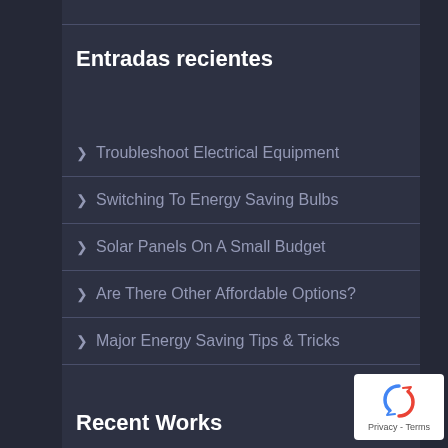Entradas recientes
Troubleshoot Electrical Equipment
Switching To Energy Saving Bulbs
Solar Panels On A Small Budget
Are There Other Affordable Options?
Major Energy Saving Tips & Tricks
Recent Works
[Figure (logo): reCAPTCHA badge with recycling arrows logo and Privacy - Terms text]